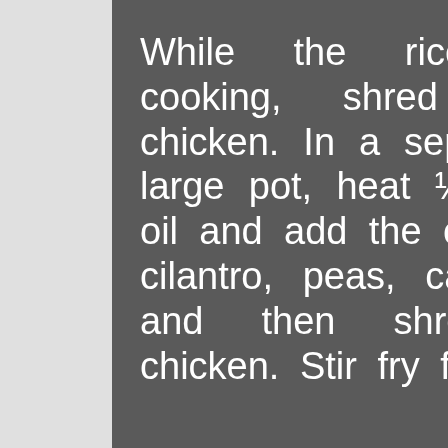While the rice is cooking, shred the chicken. In a separate large pot, heat ½ cup oil and add the celery, cilantro, peas, carrots, and then shredded chicken. Stir fry for 5